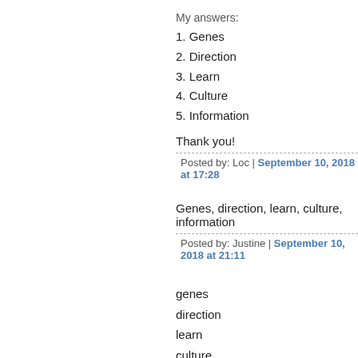My answers:
1. Genes
2. Direction
3. Learn
4. Culture
5. Information
Thank you!
Posted by: Loc | September 10, 2018 at 17:28
Genes, direction, learn, culture, information
Posted by: Justine | September 10, 2018 at 21:11
genes
direction
learn
culture
information
Posted by: hang | September 10, 2018 at 22:46